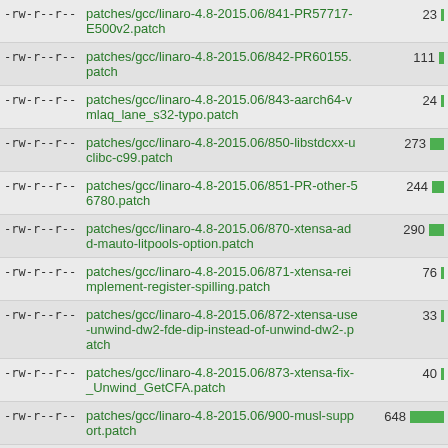-rw-r--r--  patches/gcc/linaro-4.8-2015.06/841-PR57717-E500v2.patch  23
-rw-r--r--  patches/gcc/linaro-4.8-2015.06/842-PR60155.patch  111
-rw-r--r--  patches/gcc/linaro-4.8-2015.06/843-aarch64-vmlaq_lane_s32-typo.patch  24
-rw-r--r--  patches/gcc/linaro-4.8-2015.06/850-libstdcxx-uclibc-c99.patch  273
-rw-r--r--  patches/gcc/linaro-4.8-2015.06/851-PR-other-56780.patch  244
-rw-r--r--  patches/gcc/linaro-4.8-2015.06/870-xtensa-add-mauto-litpools-option.patch  290
-rw-r--r--  patches/gcc/linaro-4.8-2015.06/871-xtensa-reimplement-register-spilling.patch  76
-rw-r--r--  patches/gcc/linaro-4.8-2015.06/872-xtensa-use-unwind-dw2-fde-dip-instead-of-unwind-dw2-.patch  33
-rw-r--r--  patches/gcc/linaro-4.8-2015.06/873-xtensa-fix-_Unwind_GetCFA.patch  40
-rw-r--r--  patches/gcc/linaro-4.8-2015.06/900-musl-support.patch  648